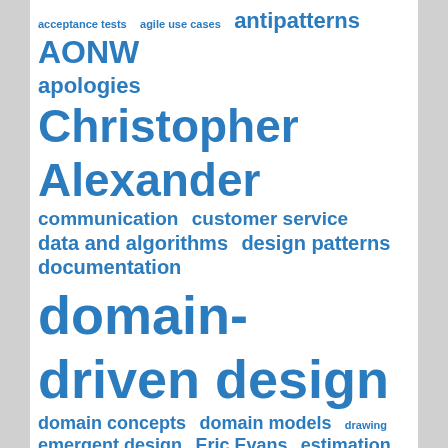[Figure (infographic): Tag cloud / word cloud with various software design and programming-related terms in blue, displayed at varying font sizes indicating frequency/importance. Terms include: acceptance tests, agile use cases, antipatterns, AONW, apologies, Christopher Alexander, communication, customer service, data and algorithms, design patterns, documentation, domain-driven design, domain concepts, domain models, drawing, emergent design, Eric Evans, estimation, experience reports, icebreaker, IEEE design column, JAOO, metaphors, mob programming, modeling, object design, occasion noise, OOPSLA, open space, parametric, polymorphism, pattern noise]